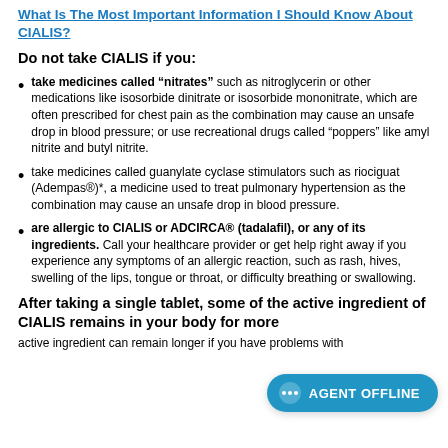What Is The Most Important Information I Should Know About CIALIS?
Do not take CIALIS if you:
take medicines called “nitrates” such as nitroglycerin or other medications like isosorbide dinitrate or isosorbide mononitrate, which are often prescribed for chest pain as the combination may cause an unsafe drop in blood pressure; or use recreational drugs called “poppers” like amyl nitrite and butyl nitrite.
take medicines called guanylate cyclase stimulators such as riociguat (Adempas®)*, a medicine used to treat pulmonary hypertension as the combination may cause an unsafe drop in blood pressure.
are allergic to CIALIS or ADCIRCA® (tadalafil), or any of its ingredients. Call your healthcare provider or get help right away if you experience any symptoms of an allergic reaction, such as rash, hives, swelling of the lips, tongue or throat, or difficulty breathing or swallowing.
After taking a single tablet, some of the active ingredient of CIALIS remains in your body for more than 2 days. The active ingredient can remain longer if you have problems with